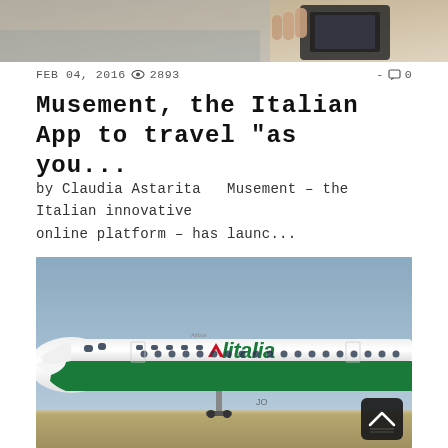[Figure (photo): Partial top image showing hands holding a device, cropped at the top of the page]
FEB 04, 2016 👁 2893   -  💬 0
Musement, the Italian App to travel "as you...
by Claudia Astarita   Musement – the Italian innovative online platform – has launc...
[Figure (photo): Alitalia airplane on the ground showing the nose, cockpit, and fuselage with the green Alitalia logo and livery]